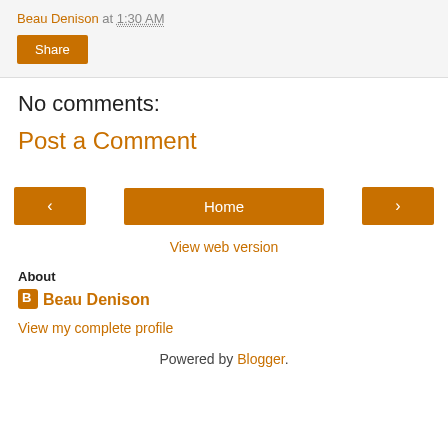Beau Denison at 1:30 AM
Share
No comments:
Post a Comment
‹ Home ›
View web version
About
Beau Denison
View my complete profile
Powered by Blogger.